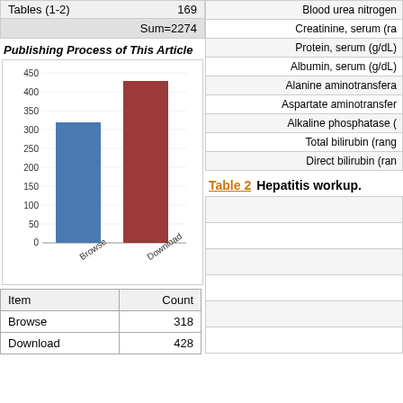| Tables (1-2) |  |
| --- | --- |
| Tables (1-2) | 169 |
|  | Sum=2274 |
Publishing Process of This Article
[Figure (bar-chart): Publishing Process of This Article]
| Item | Count |
| --- | --- |
| Browse | 318 |
| Download | 428 |
|  |
| --- |
| Blood urea nitrogen |
| Creatinine, serum (ra |
| Protein, serum (g/dL) |
| Albumin, serum (g/dL) |
| Alanine aminotransfera |
| Aspartate aminotransfer |
| Alkaline phosphatase ( |
| Total bilirubin (rang |
| Direct bilirubin (ran |
Table 2  Hepatitis workup.
|  |
| --- |
|  |
|  |
|  |
|  |
|  |
|  |